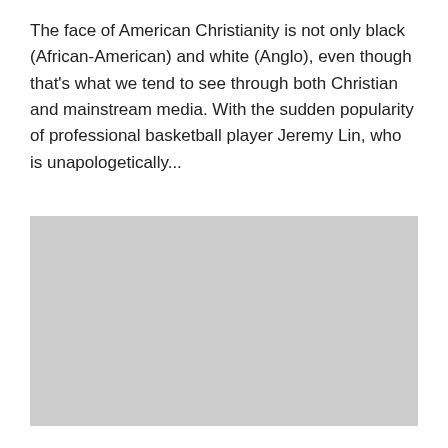The face of American Christianity is not only black (African-American) and white (Anglo), even though that's what we tend to see through both Christian and mainstream media. With the sudden popularity of professional basketball player Jeremy Lin, who is unapologetically...
[Figure (photo): A gray placeholder rectangle representing an image]